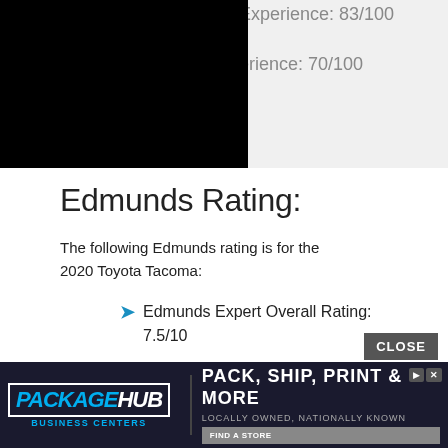[Figure (photo): Black image block in top-left corner, partially covered by gray bar with truncated text]
ip Experience: 83/100
xperience: 70/100
Edmunds Rating:
The following Edmunds rating is for the 2020 Toyota Tacoma:
Edmunds Expert Overall Rating: 7.5/10
Additional Edmunds ratings:
Driving experience: 7.0/10
[Figure (screenshot): PackageHub advertisement banner at the bottom: PACK, SHIP, PRINT & MORE, LOCALLY OWNED, NATIONALLY KNOWN, FIND A STORE]